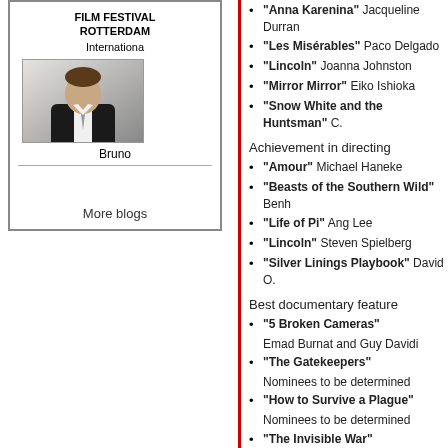[Figure (photo): Photo of a man in a dark suit and white shirt]
FILM FESTIVAL ROTTERDAM
International
Bruno
More blogs
Achievement in directing
"Anna Karenina" Jacqueline Durran
"Les Misérables" Paco Delgado
"Lincoln" Joanna Johnston
"Mirror Mirror" Eiko Ishioka
"Snow White and the Huntsman" C.
Achievement in directing
"Amour" Michael Haneke
"Beasts of the Southern Wild" Benh
"Life of Pi" Ang Lee
"Lincoln" Steven Spielberg
"Silver Linings Playbook" David O.
Best documentary feature
"5 Broken Cameras"
Emad Burnat and Guy Davidi
"The Gatekeepers"
Nominees to be determined
"How to Survive a Plague"
Nominees to be determined
"The Invisible War"
Nominees to be determined
"Searching for Sugar Man"
Nominees to be determined
Best documentary short subject
"Inocente"